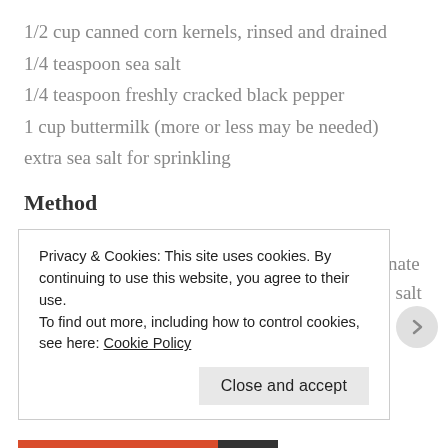1/2 cup canned corn kernels, rinsed and drained
1/4 teaspoon sea salt
1/4 teaspoon freshly cracked black pepper
1 cup buttermilk (more or less may be needed)
extra sea salt for sprinkling
Method
Heat oil in a large saucepan to 180C / 350F. Mix together the cornmeal, flour, sugar, bicarbonate of soda, egg and oil. Add the spring onion, corn, salt and pepper. Mix until just combined.
Privacy & Cookies: This site uses cookies. By continuing to use this website, you agree to their use.
To find out more, including how to control cookies, see here: Cookie Policy